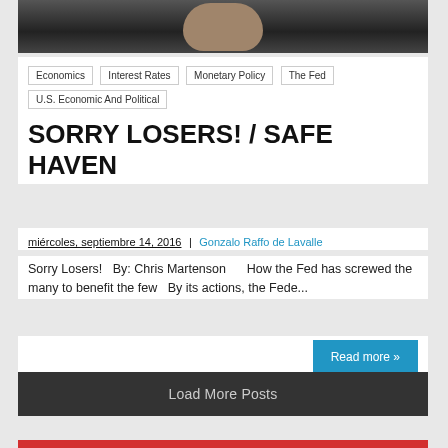[Figure (photo): Partial image of a person's face/head against a dark background, cropped at top]
Economics
Interest Rates
Monetary Policy
The Fed
U.S. Economic And Political
SORRY LOSERS! / SAFE HAVEN
miércoles, septiembre 14, 2016 | Gonzalo Raffo de Lavalle
Sorry Losers!   By: Chris Martenson       How the Fed has screwed the many to benefit the few   By its actions, the Fede...
Read more »
Load More Posts